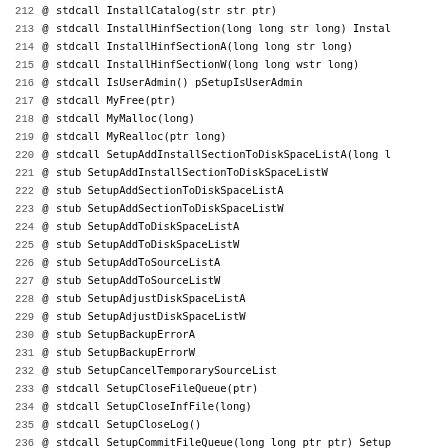212 @ stdcall InstallCatalog(str str ptr)
213 @ stdcall InstallHinfSection(long long str long) Instal
214 @ stdcall InstallHinfSectionA(long long str long)
215 @ stdcall InstallHinfSectionW(long long wstr long)
216 @ stdcall IsUserAdmin() pSetupIsUserAdmin
217 @ stdcall MyFree(ptr)
218 @ stdcall MyMalloc(long)
219 @ stdcall MyRealloc(ptr long)
220 @ stdcall SetupAddInstallSectionToDiskSpaceListA(long l
221 @ stub SetupAddInstallSectionToDiskSpaceListW
222 @ stub SetupAddSectionToDiskSpaceListA
223 @ stub SetupAddSectionToDiskSpaceListW
224 @ stub SetupAddToDiskSpaceListA
225 @ stub SetupAddToDiskSpaceListW
226 @ stub SetupAddToSourceListA
227 @ stub SetupAddToSourceListW
228 @ stub SetupAdjustDiskSpaceListA
229 @ stub SetupAdjustDiskSpaceListW
230 @ stub SetupBackupErrorA
231 @ stub SetupBackupErrorW
232 @ stub SetupCancelTemporarySourceList
233 @ stdcall SetupCloseFileQueue(ptr)
234 @ stdcall SetupCloseInfFile(long)
235 @ stdcall SetupCloseLog()
236 @ stdcall SetupCommitFileQueue(long long ptr ptr) Setup
237 @ stdcall SetupCommitFileQueueA(long long ptr ptr)
238 @ stdcall SetupCommitFileQueueW(long long ptr ptr)
239 @ stub SetupConfigureWmiFromInfSectionA
240 @ stub SetupConfigureWmiFromInfSectionW
241 @ stdcall SetupCopyErrorA(long str str str str str long
242 @ stdcall SetupCopyErrorW(long wstr wstr wstr wstr wstr
243 @ stdcall SetupCopyOEMInfA(str str long long ptr long